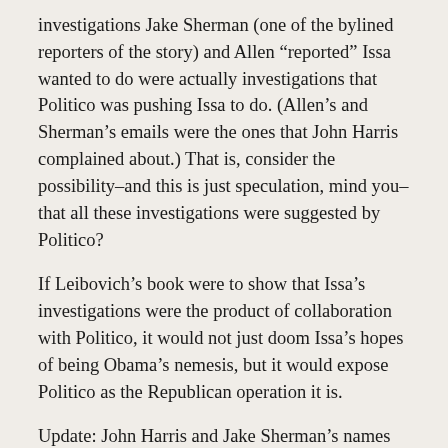investigations Jake Sherman (one of the bylined reporters of the story) and Allen “reported” Issa wanted to do were actually investigations that Politico was pushing Issa to do. (Allen’s and Sherman’s emails were the ones that John Harris complained about.) That is, consider the possibility–and this is just speculation, mind you–that all these investigations were suggested by Politico?
If Leibovich’s book were to show that Issa’s investigations were the product of collaboration with Politico, it would not just doom Issa’s hopes of being Obama’s nemesis, but it would expose Politico as the Republican operation it is.
Update: John Harris and Jake Sherman’s names fixed. And more coffee consumed.